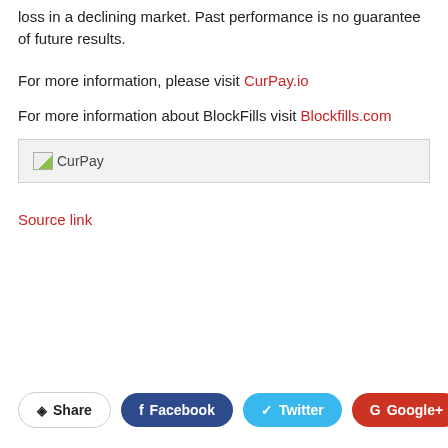loss in a declining market. Past performance is no guarantee of future results.
For more information, please visit CurPay.io
For more information about BlockFills visit Blockfills.com
[Figure (logo): CurPay logo placeholder image with text 'CurPay' in a light grey box]
Source link
Share | Facebook | Twitter | Google+